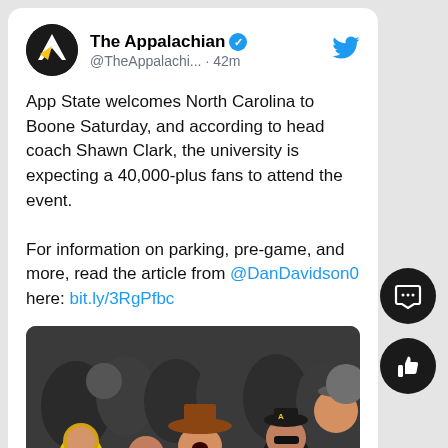The Appalachian @TheAppalachi... · 42m
App State welcomes North Carolina to Boone Saturday, and according to head coach Shawn Clark, the university is expecting a 40,000-plus fans to attend the event.

For information on parking, pre-game, and more, read the article from @DanDavidson0 here: bit.ly/3RgPfbc
[Figure (photo): Crowd of App State fans in black and yellow costumes and gear at a football game]
theappalachianonline.com